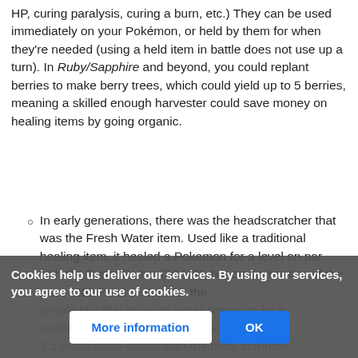HP, curing paralysis, curing a burn, etc.) They can be used immediately on your Pokémon, or held by them for when they're needed (using a held item in battle does not use up a turn). In Ruby/Sapphire and beyond, you could replant berries to make berry trees, which could yield up to 5 berries, meaning a skilled enough harvester could save money on healing items by going organic.
In early generations, there was the headscratcher that was the Fresh Water item. Used like a traditional healing item, it healed a Pokemon for a level on par with the Super Potion (50 HP), but cost a fraction of the price (200 Poké Dollars for the [dimmed: ...simple fact that drinking water seems to be a restorative. ...by water heals 2.5 times more health than the most common]
Cookies help us deliver our services. By using our services, you agree to our use of cookies.